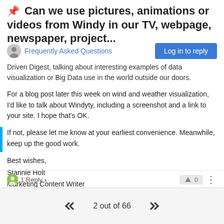📌 Can we use pictures, animations or videos from Windy in our TV, webpage, newspaper, project...
Frequently Asked Questions
Driven Digest,  talking about interesting examples of data visualization or Big Data use in the world outside our doors.
For a blog post later this week on wind and weather visualization, I'd like to talk about Windyty, including a screenshot and a link to your site. I hope that's OK.
If not, please let me know at your earliest convenience. Meanwhile, keep up the good work.
Best wishes,
Stannie Holt
Marketing Content Writer
951 Mariners Island Blvd. | 7th Floor| San Mateo, CA 94404
Office: 650-645-3063
1 Reply >
2 out of 66